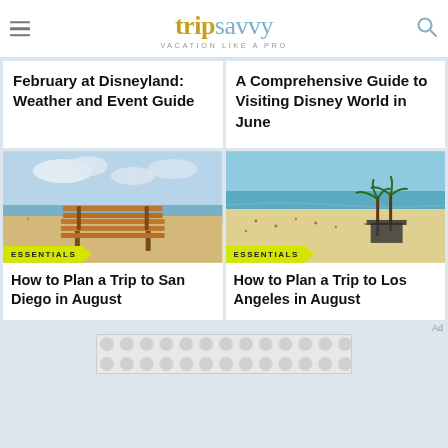tripsavvy — VACATION LIKE A PRO
February at Disneyland: Weather and Event Guide
A Comprehensive Guide to Visiting Disney World in June
[Figure (photo): Beach scene with wooden bench in foreground, ocean and sky in background, with ESSENTIALS badge overlay]
How to Plan a Trip to San Diego in August
[Figure (photo): Aerial view of Los Angeles beach with palm trees, beachgoers on sandy shore, and ocean in background, with ESSENTIALS badge overlay]
How to Plan a Trip to Los Angeles in August